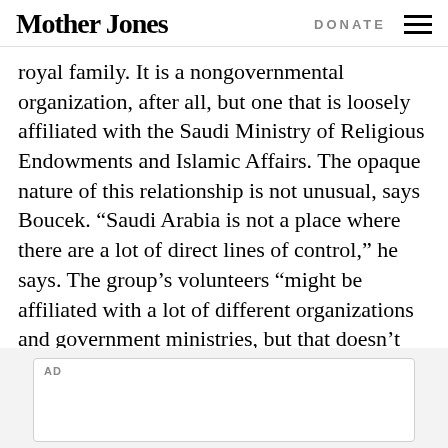Mother Jones  DONATE
royal family. It is a nongovernmental organization, after all, but one that is loosely affiliated with the Saudi Ministry of Religious Endowments and Islamic Affairs. The opaque nature of this relationship is not unusual, says Boucek. “Saudi Arabia is not a place where there are a lot of direct lines of control,” he says. The group’s volunteers “might be affiliated with a lot of different organizations and government ministries, but that doesn’t mean it has official government authorization.”
AD